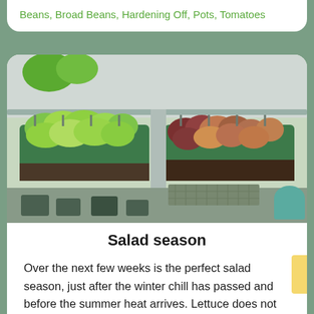Beans, Broad Beans, Hardening Off, Pots, Tomatoes
[Figure (photo): Two green hanging planter boxes mounted on a balcony railing, one containing bright green lettuce and one containing red/green mixed lettuce varieties, with other pots and gardening items visible in the background.]
Salad season
Over the next few weeks is the perfect salad season, just after the winter chill has passed and before the summer heat arrives. Lettuce does not